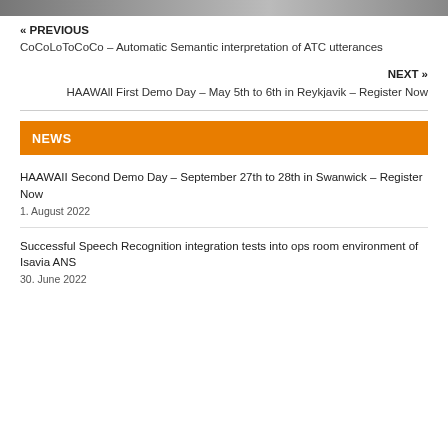[Figure (photo): Partial photograph visible at top of page]
« PREVIOUS
CoCoLoToCoCo – Automatic Semantic interpretation of ATC utterances
NEXT »
HAAWAll First Demo Day – May 5th to 6th in Reykjavik – Register Now
NEWS
HAAWAII Second Demo Day – September 27th to 28th in Swanwick – Register Now
1. August 2022
Successful Speech Recognition integration tests into ops room environment of Isavia ANS
30. June 2022